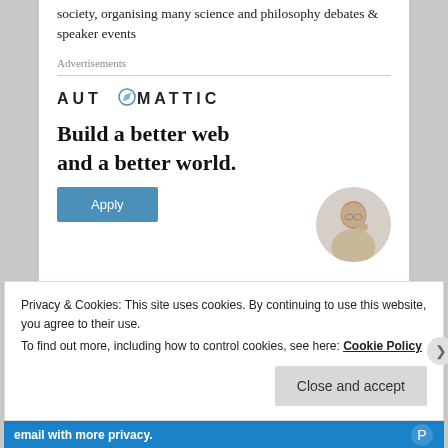society, organising many science and philosophy debates & speaker events
Advertisements
[Figure (logo): Automattic logo with compass icon]
Build a better web and a better world.
[Figure (photo): Person thinking, circular cropped photo]
Privacy & Cookies: This site uses cookies. By continuing to use this website, you agree to their use.
To find out more, including how to control cookies, see here: Cookie Policy
Close and accept
email with more privacy.